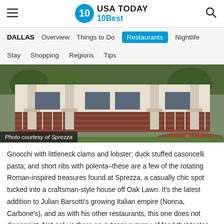USA TODAY 10Best
DALLAS | Overview | Things to Do | Restaurants | Nightlife | Stay | Shopping | Regions | Tips
[Figure (photo): Exterior of Sprezza restaurant, a craftsman-style brick house with white railings and flower beds]
Photo courtesy of Sprezza
Gnocchi with littleneck clams and lobster; duck stuffed casoncelli pasta; and short ribs with polenta–these are a few of the rotating Roman-inspired treasures found at Sprezza, a casually chic spot tucked into a craftsman-style house off Oak Lawn. It's the latest addition to Julian Barsotti's growing Italian empire (Nonna, Carbone's), and as with his other restaurants, this one does not disappoint. Not only is there an extensive menu of food that tastes straight out of Italy, but the pizza al taglio (Roman-style pizzas)